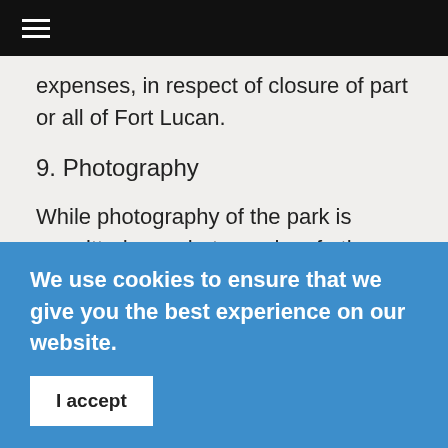☰ (navigation menu)
expenses, in respect of closure of part or all of Fort Lucan.
9. Photography
While photography of the park is permitted any photography of other guests is strictly prohibited. If Photos of minors are taken without the express written permission of the
We use cookies to ensure that we give you the best experience on our website.
I accept